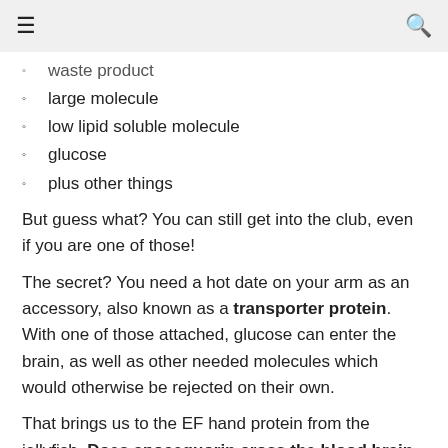≡   🔍
waste product
large molecule
low lipid soluble molecule
glucose
plus other things
But guess what? You can still get into the club, even if you are one of those!
The secret? You need a hot date on your arm as an accessory, also known as a transporter protein. With one of those attached, glucose can enter the brain, as well as other needed molecules which would otherwise be rejected on their own.
That brings us to the EF hand protein from the jellyfish. Does apoaequorin cross the blood brain barrier?